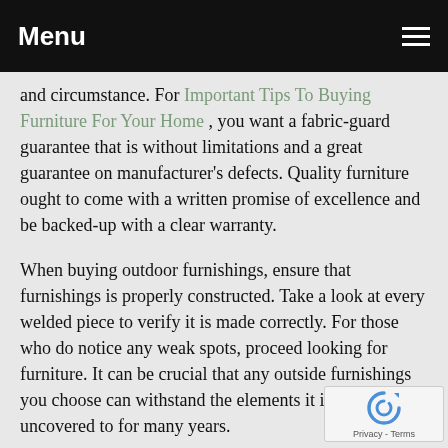Menu
and circumstance. For Important Tips To Buying Furniture For Your Home , you want a fabric-guard guarantee that is without limitations and a great guarantee on manufacturer's defects. Quality furniture ought to come with a written promise of excellence and be backed-up with a clear warranty.
When buying outdoor furnishings, ensure that furnishings is properly constructed. Take a look at every welded piece to verify it is made correctly. For those who do notice any weak spots, proceed looking for furniture. It can be crucial that any outside furnishings you choose can withstand the elements it is going to be uncovered to for many years.
Decide what material you need before you start looki